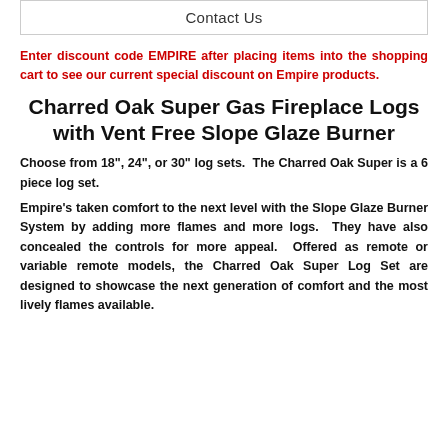Contact Us
Enter discount code EMPIRE after placing items into the shopping cart to see our current special discount on Empire products.
Charred Oak Super Gas Fireplace Logs with Vent Free Slope Glaze Burner
Choose from 18", 24", or 30" log sets.  The Charred Oak Super is a 6 piece log set.
Empire's taken comfort to the next level with the Slope Glaze Burner System by adding more flames and more logs.  They have also concealed the controls for more appeal.  Offered as remote or variable remote models, the Charred Oak Super Log Set are designed to showcase the next generation of comfort and the most lively flames available.